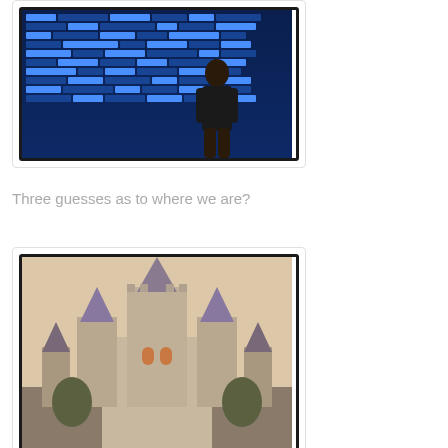[Figure (photo): Photo of a child looking at an airport departure board. The board displays blue flight information screens. The child is seen from behind wearing a dark shirt.]
Three guesses as to where we are?
[Figure (photo): Photo of Cinderella's Castle at Walt Disney World (Magic Kingdom). The castle is photographed against a pale, hazy sky with warm tones.]